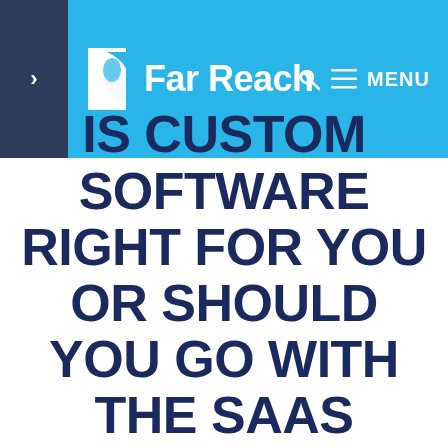Far Reach — MENU
IS CUSTOM SOFTWARE RIGHT FOR YOU OR SHOULD YOU GO WITH THE SAAS APPROACH?